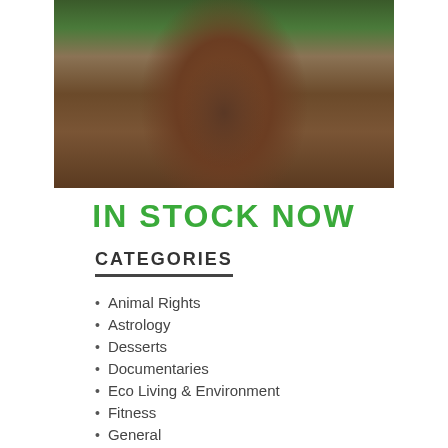[Figure (photo): A person wearing a traditional feathered headdress, with hands placing a green leaf near their face. Close-up documentary-style photograph.]
IN STOCK NOW
CATEGORIES
Animal Rights
Astrology
Desserts
Documentaries
Eco Living & Environment
Fitness
General